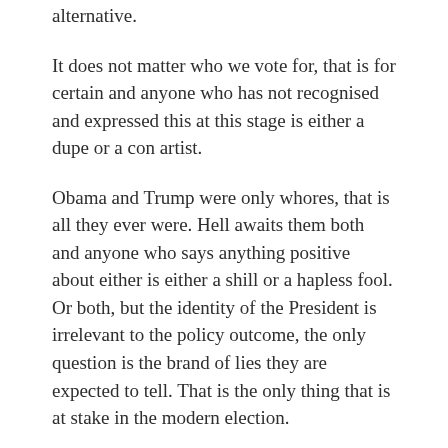alternative.
It does not matter who we vote for, that is for certain and anyone who has not recognised and expressed this at this stage is either a dupe or a con artist.
Obama and Trump were only whores, that is all they ever were. Hell awaits them both and anyone who says anything positive about either is either a shill or a hapless fool. Or both, but the identity of the President is irrelevant to the policy outcome, the only question is the brand of lies they are expected to tell. That is the only thing that is at stake in the modern election.
The other very troubling understanding is that